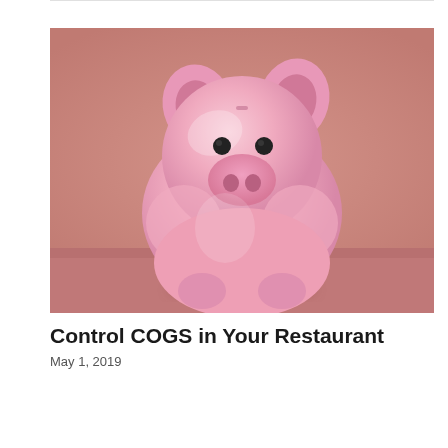[Figure (photo): A pink piggy bank centered on a pink/mauve background, front-facing view showing round body, ears, snout with two nostrils, and small black eyes.]
Control COGS in Your Restaurant
May 1, 2019